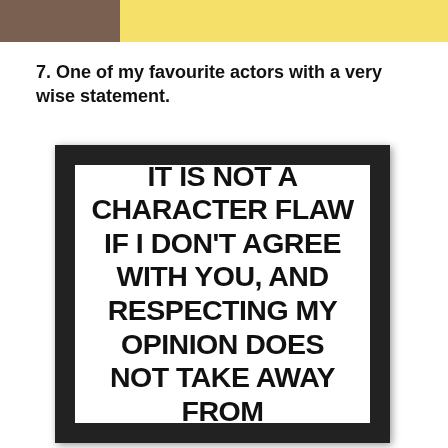[Figure (photo): Partial photo of a person at the top of the page, with a yellow background strip visible]
7. One of my favourite actors with a very wise statement.
[Figure (photo): A framed sign with bold black text on white background reading: IT IS NOT A CHARACTER FLAW IF I DON'T AGREE WITH YOU, AND RESPECTING MY OPINION DOES NOT TAKE AWAY FROM]